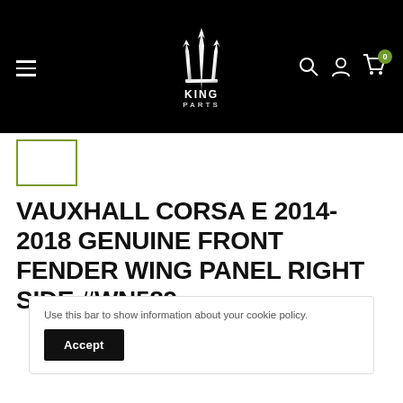[Figure (logo): King Parts logo with trident emblem on black header background, with hamburger menu, search, account, and cart icons]
[Figure (photo): Small product thumbnail image with olive/green border]
VAUXHALL CORSA E 2014-2018 GENUINE FRONT FENDER WING PANEL RIGHT SIDE #WN589
Use this bar to show information about your cookie policy.
Accept